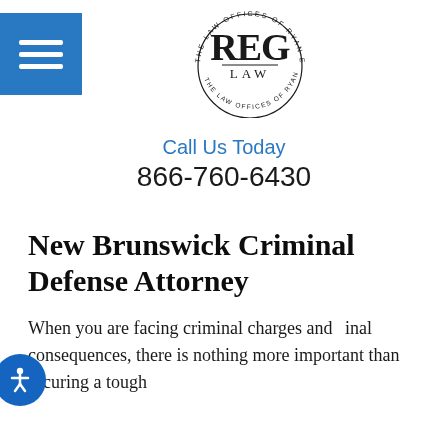[Figure (logo): REG Law – The Law Offices of Ryan E. Gilbert, LLC circular logo with hamburger menu button on left]
Call Us Today
866-760-6430
New Brunswick Criminal Defense Attorney
When you are facing criminal charges and criminal consequences, there is nothing more important than securing a tough